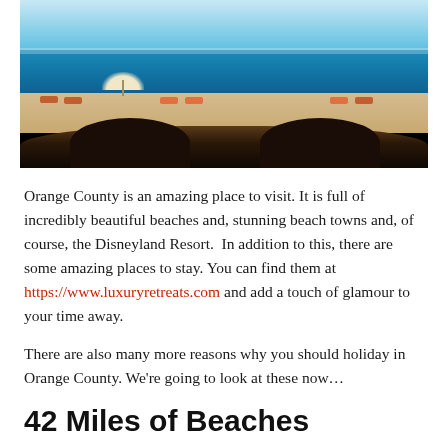[Figure (photo): Beach scene with ocean water, sandy beach, lounge chairs, umbrella, and people; foreground shows a dark wooden railing or overhang]
Orange County is an amazing place to visit. It is full of incredibly beautiful beaches and, stunning beach towns and, of course, the Disneyland Resort. In addition to this, there are some amazing places to stay. You can find them at https://www.luxuryretreats.com and add a touch of glamour to your time away.
There are also many more reasons why you should holiday in Orange County. We're going to look at these now...
42 Miles of Beaches
Orange County has 42 miles of incredible beaches and